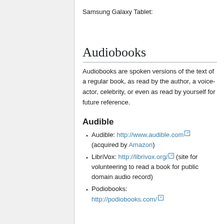Samsung Galaxy Tablet:
Audiobooks
Audiobooks are spoken versions of the text of a regular book, as read by the author, a voice-actor, celebrity, or even as read by yourself for future reference.
Audible
Audible: http://www.audible.com (acquired by Amazon)
LibriVox: http://librivox.org/ (site for volunteering to read a book for public domain audio record)
Podiobooks: http://podiobooks.com/